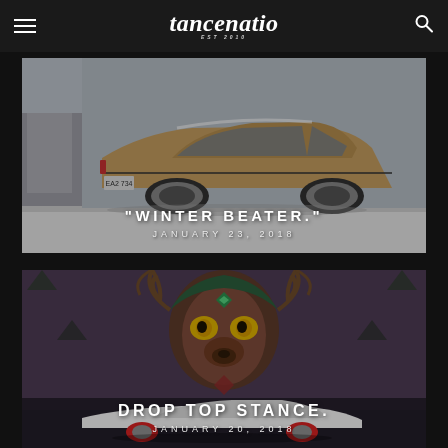Stancenation EST 2010
[Figure (photo): A lowered tan/beige BMW E36 sedan sitting on snow with large aftermarket wheels, shot from the rear quarter angle]
"WINTER BEATER."
JANUARY 23, 2018
[Figure (photo): A white drop-top convertible stanced car photographed in front of a large colorful mural featuring a stylized bear/deer creature with antlers]
DROP TOP STANCE.
JANUARY 20, 2018